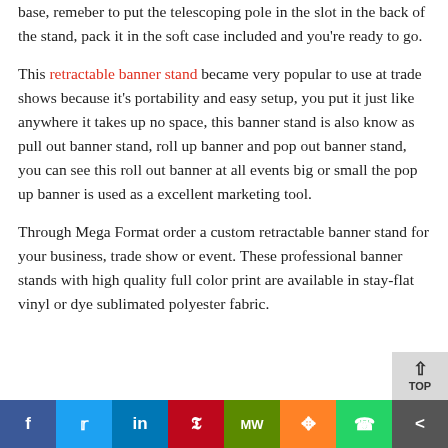base, remeber to put the telescoping pole in the slot in the back of the stand, pack it in the soft case included and you're ready to go.
This retractable banner stand became very popular to use at trade shows because it's portability and easy setup, you put it just like anywhere it takes up no space, this banner stand is also know as pull out banner stand, roll up banner and pop out banner stand, you can see this roll out banner at all events big or small the pop up banner is used as a excellent marketing tool.
Through Mega Format order a custom retractable banner stand for your business, trade show or event. These professional banner stands with high quality full color print are available in stay-flat vinyl or dye sublimated polyester fabric.
[Figure (other): Social sharing bar at the bottom with buttons: Facebook (blue), Twitter (light blue), LinkedIn (dark blue), Pinterest (red), Mix/MW (green), Mix (orange), WhatsApp (green), share (gray)]